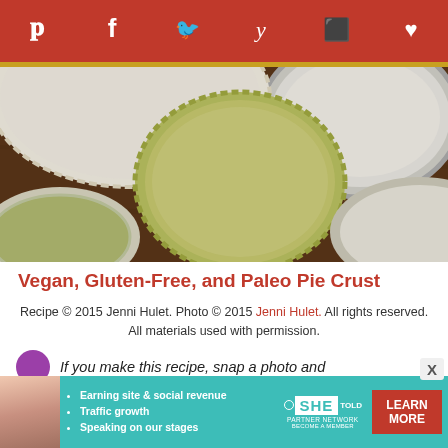Social sharing bar: Pinterest, Facebook, Twitter, Yummly, Flipboard, Favorites
[Figure (photo): Overhead view of pie crusts and bowls of seeds/grains on a dark wooden surface]
Vegan, Gluten-Free, and Paleo Pie Crust
Recipe © 2015 Jenni Hulet. Photo © 2015 Jenni Hulet. All rights reserved. All materials used with permission.
If you make this recipe, snap a photo and
[Figure (infographic): Advertisement banner for SHE Partner Network: Earning site & social revenue, Traffic growth, Speaking on our stages. Learn More button.]